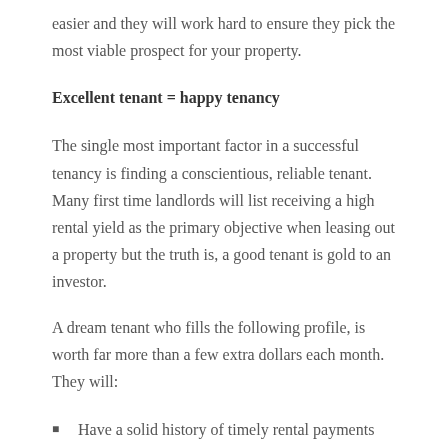easier and they will work hard to ensure they pick the most viable prospect for your property.
Excellent tenant = happy tenancy
The single most important factor in a successful tenancy is finding a conscientious, reliable tenant. Many first time landlords will list receiving a high rental yield as the primary objective when leasing out a property but the truth is, a good tenant is gold to an investor.
A dream tenant who fills the following profile, is worth far more than a few extra dollars each month. They will:
Have a solid history of timely rental payments
Maintain the property internally and externally